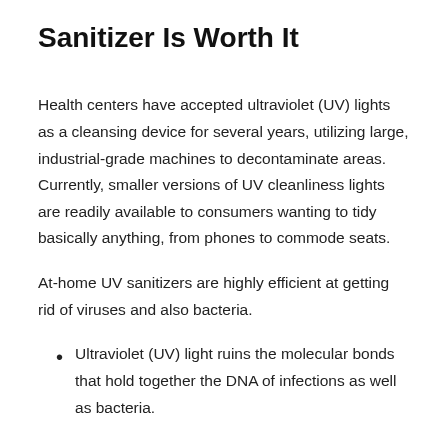Sanitizer Is Worth It
Health centers have accepted ultraviolet (UV) lights as a cleansing device for several years, utilizing large, industrial-grade machines to decontaminate areas. Currently, smaller versions of UV cleanliness lights are readily available to consumers wanting to tidy basically anything, from phones to commode seats.
At-home UV sanitizers are highly efficient at getting rid of viruses and also bacteria.
Ultraviolet (UV) light ruins the molecular bonds that hold together the DNA of infections as well as bacteria.